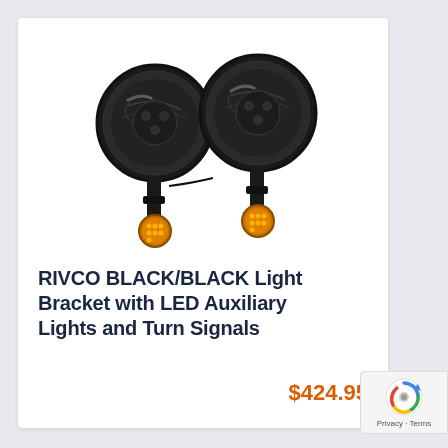[Figure (photo): Pair of black round LED auxiliary lights with amber turn signal indicators mounted on black brackets, connected by a wire]
RIVCO BLACK/BLACK Light Bracket with LED Auxiliary Lights and Turn Signals
$424.95